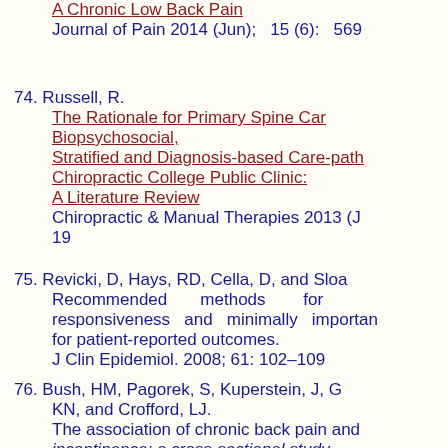Journal of Pain 2014 (Jun);  15 (6):  569
74. Russell, R. The Rationale for Primary Spine Care: Biopsychosocial, Stratified and Diagnosis-based Care-pathways for a Chiropractic College Public Clinic: A Literature Review. Chiropractic & Manual Therapies 2013 (J...) 19
75. Revicki, D, Hays, RD, Cella, D, and Sloa... Recommended methods for responsiveness and minimally important... for patient-reported outcomes. J Clin Epidemiol. 2008; 61: 102-109
76. Bush, HM, Pagorek, S, Kuperstein, J, G... KN, and Crofford, LJ. The association of chronic back pain and... incontinence: a cross-sectional study